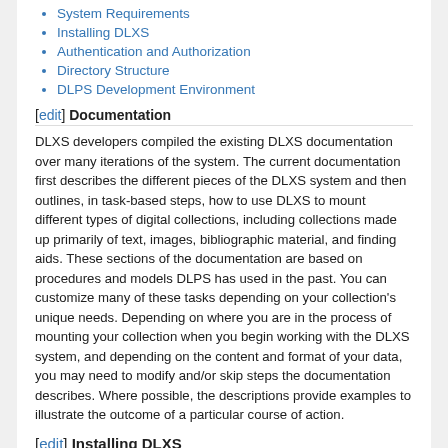System Requirements
Installing DLXS
Authentication and Authorization
Directory Structure
DLPS Development Environment
[edit] Documentation
DLXS developers compiled the existing DLXS documentation over many iterations of the system. The current documentation first describes the different pieces of the DLXS system and then outlines, in task-based steps, how to use DLXS to mount different types of digital collections, including collections made up primarily of text, images, bibliographic material, and finding aids. These sections of the documentation are based on procedures and models DLPS has used in the past. You can customize many of these tasks depending on your collection's unique needs. Depending on where you are in the process of mounting your collection when you begin working with the DLXS system, and depending on the content and format of your data, you may need to modify and/or skip steps the documentation describes. Where possible, the descriptions provide examples to illustrate the outcome of a particular course of action.
[edit] Installing DLXS
Installing DLXS provides information about system requirements, step-by-step installation instructions, database installation, working with multiple releases of DLXS, and installation troubleshooting.